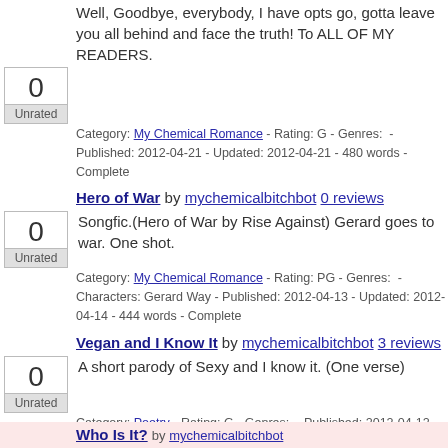Well, Goodbye, everybody, I have opts go, gotta leave you all behind and face the truth! To ALL OF MY READERS.
Category: My Chemical Romance - Rating: G - Genres:  - Published: 2012-04-21 - Updated: 2012-04-21 - 480 words - Complete
Hero of War by mychemicalbitchbot 0 reviews
Songfic.(Hero of War by Rise Against) Gerard goes to war. One shot.
Category: My Chemical Romance - Rating: PG - Genres:  - Characters: Gerard Way - Published: 2012-04-13 - Updated: 2012-04-14 - 444 words - Complete
Vegan and I Know It by mychemicalbitchbot 3 reviews
A short parody of Sexy and I know it. (One verse)
Category: Poetry - Rating: G - Genres:  - Published: 2012-04-12 - Updated: 2012-04-12 - 58 words - Complete